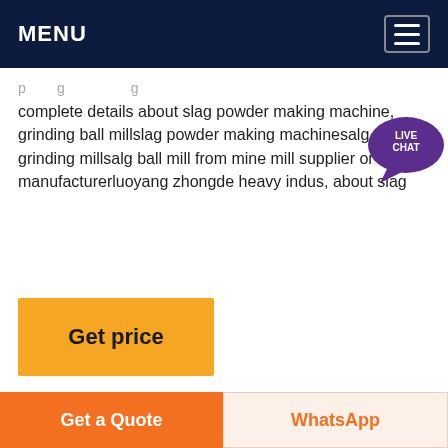MENU
complete details about slag powder making machine, grinding ball millslag powder making machinesalg grinding millsalg ball mill from mine mill supplier or manufacturerluoyang zhongde heavy indus, about slag
Get price
[Figure (photo): Industrial grinding/milling machine (cyclone dust collector or slag ball mill) inside a factory/warehouse with steel roof structure and fluorescent lighting.]
Get a Quote
WhatsApp